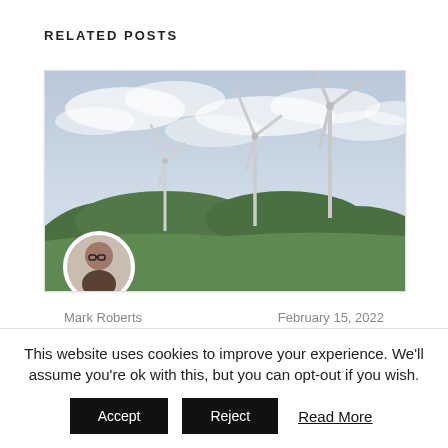RELATED POSTS
[Figure (photo): Photograph of wind turbines on a green hillside under a cloudy sky, with a circular author avatar portrait overlaid at the bottom-left corner of the image.]
Mark Roberts
February 15, 2022
Top 5 Renewable Energy Companies In
This website uses cookies to improve your experience. We'll assume you're ok with this, but you can opt-out if you wish.
Accept   Reject   Read More